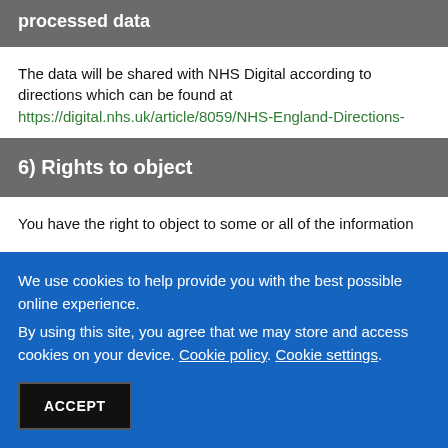processed data
The data will be shared with NHS Digital according to directions which can be found at https://digital.nhs.uk/article/8059/NHS-England-Directions-
6) Rights to object
You have the right to object to some or all of the information
We use cookies to help provide you with the best possible online experience. By using this site, you agree that we may store and access cookies on your device. Cookie policy. Cookie settings.
ACCEPT